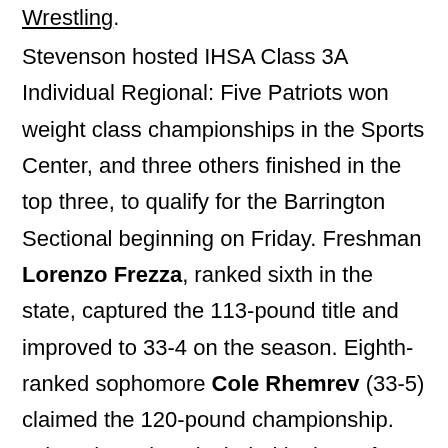Wrestling.
Stevenson hosted IHSA Class 3A Individual Regional: Five Patriots won weight class championships in the Sports Center, and three others finished in the top three, to qualify for the Barrington Sectional beginning on Friday. Freshman Lorenzo Frezza, ranked sixth in the state, captured the 113-pound title and improved to 33-4 on the season. Eighth-ranked sophomore Cole Rhemrev (33-5) claimed the 120-pound championship. Other champions included junior Kei Yamato (30-11) at 132, senior Matt Millman (10-3) at 195 (upsetting the top seed in the semifinals), and junior Keegan Houlihan (28-7) at 285. All five were first-time champions. Senior Ethan Klondar (17-16) finished second at 138. Junior Alex Swidler (22-16) was third at 106 and sophomore Jacob Whiting (23-19) placed third at 170. Stevenson finished second to Barrington in the team standings, 208.5-201. – Official